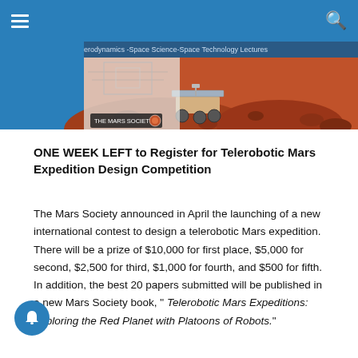Aerospace Lectures — Aerodynamics -Space Science-Space Technology Lectures
[Figure (illustration): Banner image showing a Mars rover on red terrain with 'The Mars Society' logo, and an overlay of the Aerospace Lectures website header with space imagery.]
ONE WEEK LEFT to Register for Telerobotic Mars Expedition Design Competition
The Mars Society announced in April the launching of a new international contest to design a telerobotic Mars expedition. There will be a prize of $10,000 for first place, $5,000 for second, $2,500 for third, $1,000 for fourth, and $500 for fifth. In addition, the best 20 papers submitted will be published in a new Mars Society book, " Telerobotic Mars Expeditions: Exploring the Red Planet with Platoons of Robots."
An essential requirement for any human Mars exploration mission is an assembly of leading...